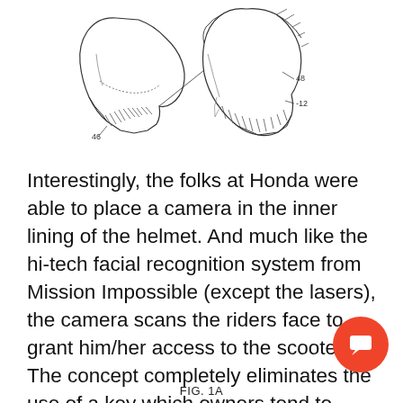[Figure (schematic): Patent drawing FIG. 1A showing cross-sectional views of a motorcycle helmet with labeled parts including numbers 12, 46, and 48. Two helmet sections shown side by side with hatching and detail lines.]
Interestingly, the folks at Honda were able to place a camera in the inner lining of the helmet. And much like the hi-tech facial recognition system from Mission Impossible (except the lasers), the camera scans the riders face to grant him/her access to the scooter. The concept completely eliminates the use of a key which owners tend to misplace quite easily.
FIG. 1A